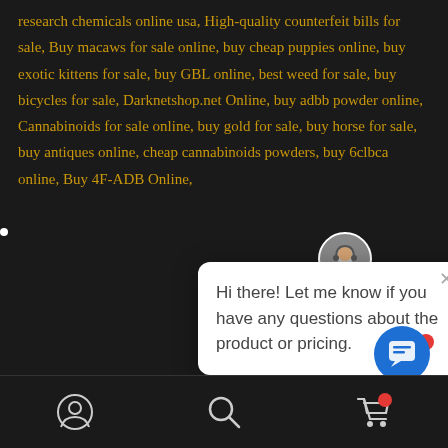research chemicals online usa, High-quality counterfeit bills for sale, Buy macaws for sale online, buy cheap puppies online, buy exotic kittens for sale, buy GBL online, best weed for sale, buy bicycles for sale, Darknetshop.net Online, buy adbb powder online, Cannabinoids for sale online, buy gold for sale, buy horse for sale, buy antiques online, cheap cannabinoids powders, buy 6clbca online, Buy 4F-ADB Online,
[Figure (screenshot): Live chat popup with avatar of a male agent and message: Hi there! Let me know if you have any questions about the product or pricing.]
[Figure (screenshot): Bottom navigation bar with account/user icon, search icon, and shopping cart icon with red notification badge. Blue chat button in bottom right.]